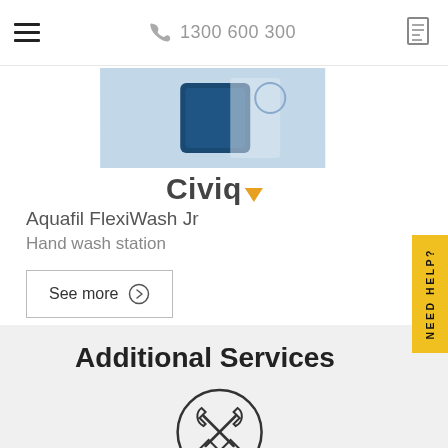☰  1300 600 300
[Figure (photo): Product photo of a blue/white hand wash station (Aquafil FlexiWash Jr) with Civiq branding]
Civiq
Aquafil FlexiWash Jr
Hand wash station
See more ⊙
Additional Services
[Figure (illustration): Circle icon with wrench and screwdriver crossed inside]